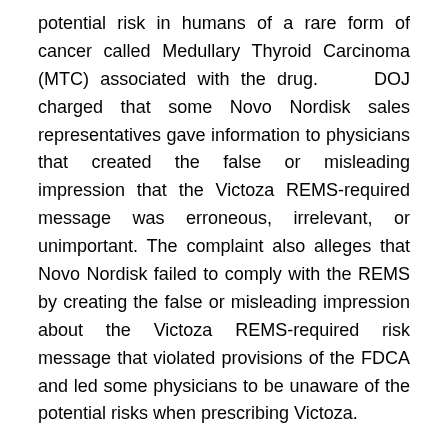potential risk in humans of a rare form of cancer called Medullary Thyroid Carcinoma (MTC) associated with the drug.    DOJ charged that some Novo Nordisk sales representatives gave information to physicians that created the false or misleading impression that the Victoza REMS-required message was erroneous, irrelevant, or unimportant. The complaint also alleges that Novo Nordisk failed to comply with the REMS by creating the false or misleading impression about the Victoza REMS-required risk message that violated provisions of the FDCA and led some physicians to be unaware of the potential risks when prescribing Victoza.
According to the government's complaint, after a survey in 2011 showed that half of primary care doctors polled were unaware of the potential risk of MTC associated with the drug, the FDA required a modification to the REMS to